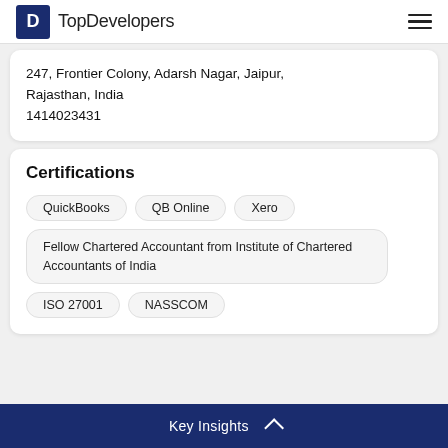TopDevelopers
247, Frontier Colony, Adarsh Nagar, Jaipur, Rajasthan, India
1414023431
Certifications
QuickBooks
QB Online
Xero
Fellow Chartered Accountant from Institute of Chartered Accountants of India
ISO 27001
NASSCOM
Key Insights